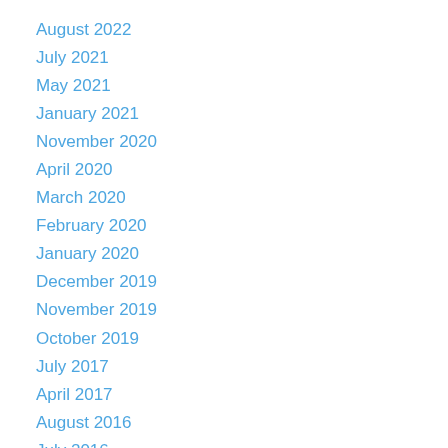August 2022
July 2021
May 2021
January 2021
November 2020
April 2020
March 2020
February 2020
January 2020
December 2019
November 2019
October 2019
July 2017
April 2017
August 2016
July 2016
June 2016
April 2016
March 2016